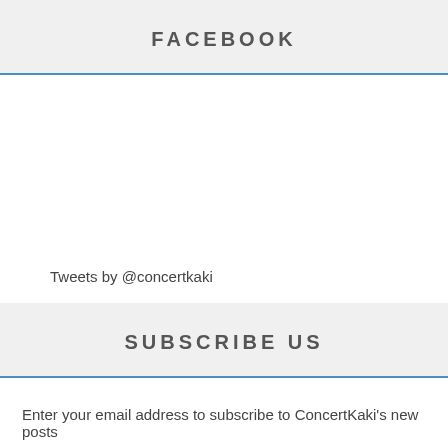FACEBOOK
Tweets by @concertkaki
SUBSCRIBE US
Enter your email address to subscribe to ConcertKaki's new posts